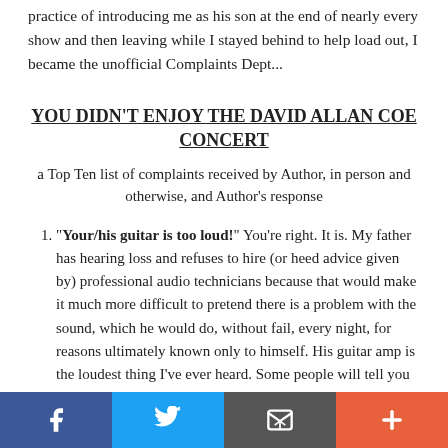practice of introducing me as his son at the end of nearly every show and then leaving while I stayed behind to help load out, I became the unofficial Complaints Dept...
YOU DIDN'T ENJOY THE DAVID ALLAN COE CONCERT
a Top Ten list of complaints received by Author, in person and otherwise, and Author's response
"Your/his guitar is too loud!" You're right. It is. My father has hearing loss and refuses to hire (or heed advice given by) professional audio technicians because that would make it much more difficult to pretend there is a problem with the sound, which he would do, without fail, every night, for reasons ultimately known only to himself. His guitar amp is the loudest thing I've ever heard. Some people will tell you that my guitar amp is the loudest thing they've ever heard
Facebook | Twitter | Email | Plus